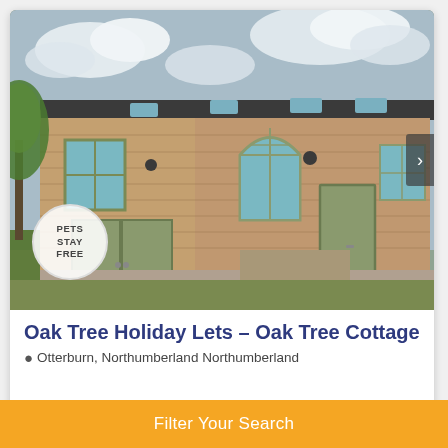[Figure (photo): Stone cottage building exterior with sage green doors and arched window, skylights, trees on left, gravel driveway, cloudy sky. Circular badge overlay reads PETS STAY FREE.]
Oak Tree Holiday Lets – Oak Tree Cottage
Otterburn, Northumberland Northumberland
Filter Your Search